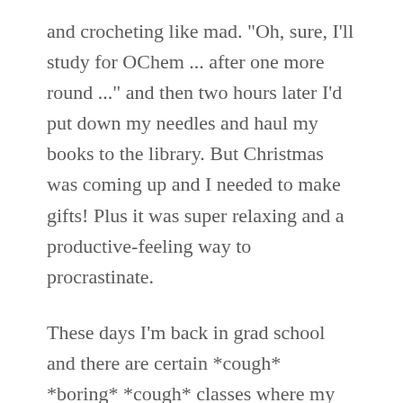and crocheting like mad. "Oh, sure, I'll study for OChem ... after one more round ..." and then two hours later I'd put down my needles and haul my books to the library. But Christmas was coming up and I needed to make gifts! Plus it was super relaxing and a productive-feeling way to procrastinate.
These days I'm back in grad school and there are certain *cough* *boring* *cough* classes where my fingers itch for a project for my hands.